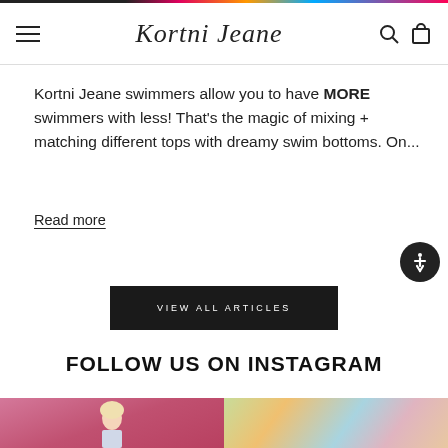Kortni Jeane — Navigation header with hamburger menu, logo, search and cart icons
Kortni Jeane swimmers allow you to have MORE swimmers with less! That's the magic of mixing + matching different tops with dreamy swim bottoms. On...
Read more
VIEW ALL ARTICLES
FOLLOW US ON INSTAGRAM
[Figure (photo): Instagram photo: blonde woman smiling on pink background]
[Figure (photo): Instagram photo: colorful striped swimwear close-up on light blue background with floral]